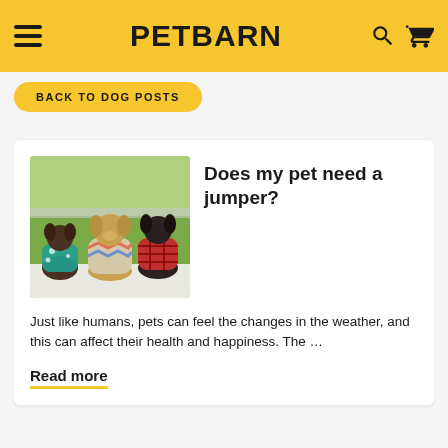PETBARN
BACK TO DOG POSTS
[Figure (photo): Three dogs wearing colorful sweaters/jumpers, sitting with their backs to the camera, looking out at a grassy area.]
Does my pet need a jumper?
Just like humans, pets can feel the changes in the weather, and this can affect their health and happiness. The …
Read more